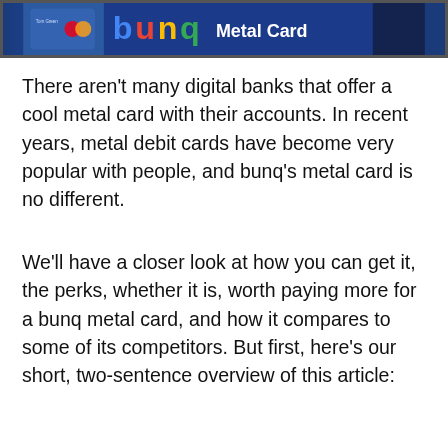[Figure (screenshot): Bunq Metal Card banner image showing the bunq logo with colorful letters and 'Metal Card' text on a dark blue background, with a credit card visible on the left side.]
There aren't many digital banks that offer a cool metal card with their accounts. In recent years, metal debit cards have become very popular with people, and bunq's metal card is no different.
We'll have a closer look at how you can get it, the perks, whether it is, worth paying more for a bunq metal card, and how it compares to some of its competitors. But first, here's our short, two-sentence overview of this article: